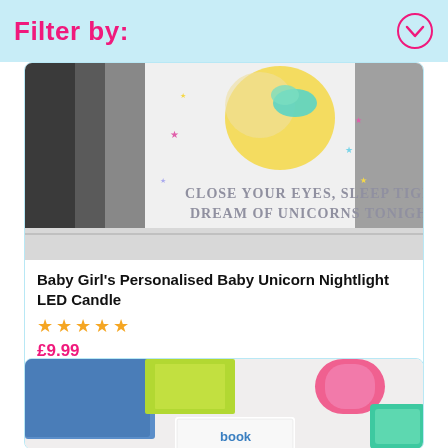Filter by:
[Figure (photo): Photo of a cylindrical LED candle nightlight with unicorn design. Text on candle reads: 'Close Your Eyes, Sleep Tight Dream of Unicorns Tonight!' with a unicorn and moon illustration at top.]
Baby Girl's Personalised Baby Unicorn Nightlight LED Candle
★★★★★
£9.99
[Figure (photo): Partial photo of stationery/book product with colourful highlighters and a small book visible on a white surface.]